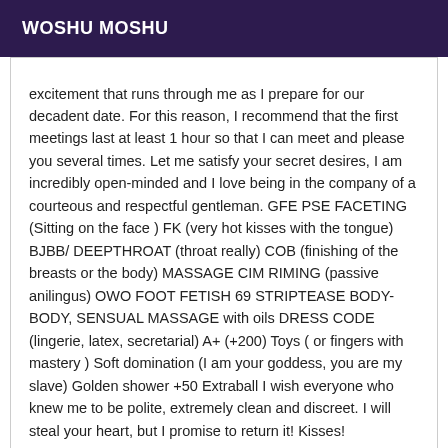WOSHU MOSHU
excitement that runs through me as I prepare for our decadent date. For this reason, I recommend that the first meetings last at least 1 hour so that I can meet and please you several times. Let me satisfy your secret desires, I am incredibly open-minded and I love being in the company of a courteous and respectful gentleman. GFE PSE FACETING (Sitting on the face ) FK (very hot kisses with the tongue) BJBB/ DEEPTHROAT (throat really) COB (finishing of the breasts or the body) MASSAGE CIM RIMING (passive anilingus) OWO FOOT FETISH 69 STRIPTEASE BODY-BODY, SENSUAL MASSAGE with oils DRESS CODE (lingerie, latex, secretarial) A+ (+200) Toys ( or fingers with mastery ) Soft domination (I am your goddess, you are my slave) Golden shower +50 Extraball I wish everyone who knew me to be polite, extremely clean and discreet. I will steal your heart, but I promise to return it! Kisses!